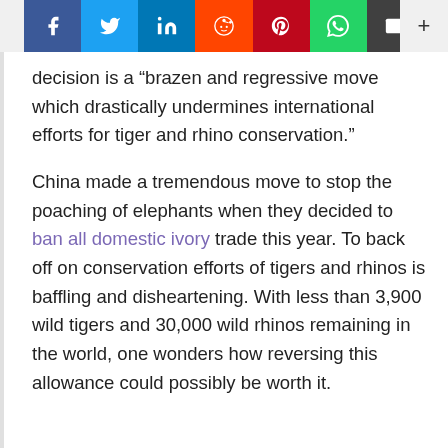Social share bar: Facebook, Twitter, LinkedIn, Reddit, Pinterest, WhatsApp, Email, +
decision is a “brazen and regressive move which drastically undermines international efforts for tiger and rhino conservation.”
China made a tremendous move to stop the poaching of elephants when they decided to ban all domestic ivory trade this year. To back off on conservation efforts of tigers and rhinos is baffling and disheartening. With less than 3,900 wild tigers and 30,000 wild rhinos remaining in the world, one wonders how reversing this allowance could possibly be worth it.